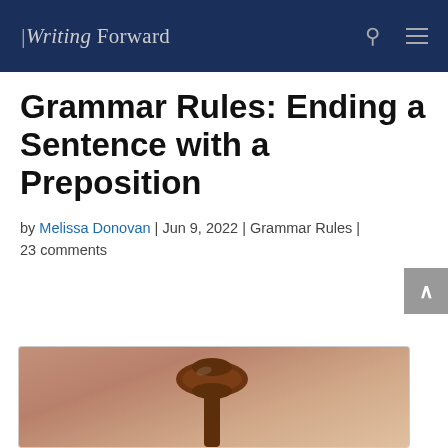Writing Forward
Grammar Rules: Ending a Sentence with a Preposition
by Melissa Donovan | Jun 9, 2022 | Grammar Rules | 23 comments
[Figure (photo): A wooden gavel photographed on a light brownish-pink background]